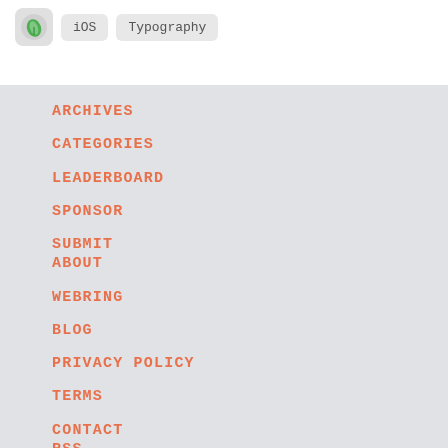[Figure (other): App icon thumbnail (small rounded square with green leaf graphic) followed by two tags: 'iOS' and 'Typography']
ARCHIVES
CATEGORIES
LEADERBOARD
SPONSOR
SUBMIT
ABOUT
WEBRING
BLOG
PRIVACY POLICY
TERMS
CONTACT
RSS